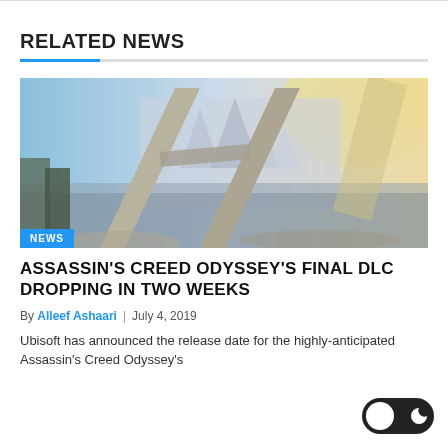RELATED NEWS
[Figure (screenshot): Assassin's Creed Odyssey game screenshot showing an ancient fantasy city with a large angular monument in the foreground and a glowing cityscape in the background. A blue 'NEWS' badge is overlaid at the bottom-left of the image.]
ASSASSIN'S CREED ODYSSEY'S FINAL DLC DROPPING IN TWO WEEKS
By Alleef Ashaari | July 4, 2019
Ubisoft has announced the release date for the highly-anticipated Assassin's Creed Odyssey's